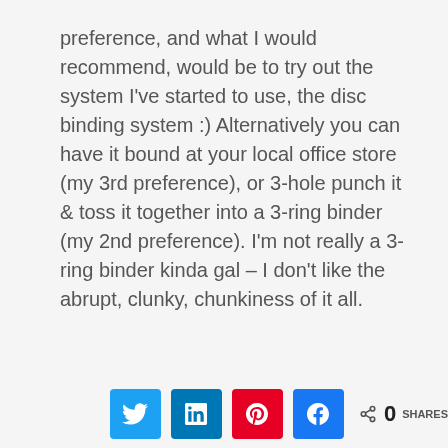preference, and what I would recommend, would be to try out the system I've started to use, the disc binding system :)  Alternatively you can have it bound at your local office store (my 3rd preference), or 3-hole punch it & toss it together into a 3-ring binder (my 2nd preference).  I'm not really a 3-ring binder kinda gal – I don't like the abrupt, clunky, chunkiness of it all.
0 SHARES [Twitter] [LinkedIn] [Pinterest] [Facebook] share buttons